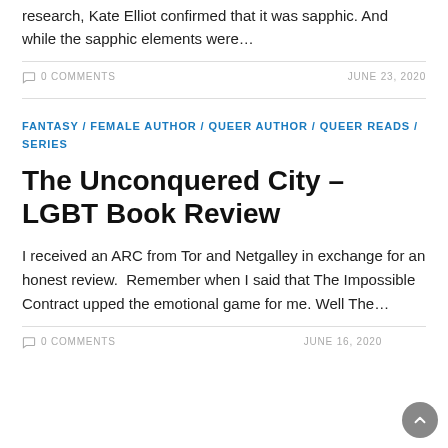research, Kate Elliot confirmed that it was sapphic. And while the sapphic elements were…
0 COMMENTS   JUNE 23, 2020
FANTASY / FEMALE AUTHOR / QUEER AUTHOR / QUEER READS / SERIES
The Unconquered City – LGBT Book Review
I received an ARC from Tor and Netgalley in exchange for an honest review.  Remember when I said that The Impossible Contract upped the emotional game for me. Well The…
0 COMMENTS   JUNE 16, 2020